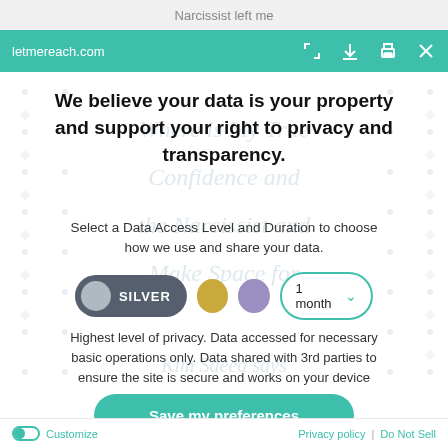Narcissist left me
letmereach.com
We believe your data is your property and support your right to privacy and transparency.
Select a Data Access Level and Duration to choose how we use and share your data.
SILVER  [gold circle]  [purple circle]  1 month ▾
Highest level of privacy. Data accessed for necessary basic operations only. Data shared with 3rd parties to ensure the site is secure and works on your device
Save my preferences
Customize  Privacy policy  |  Do Not Sell